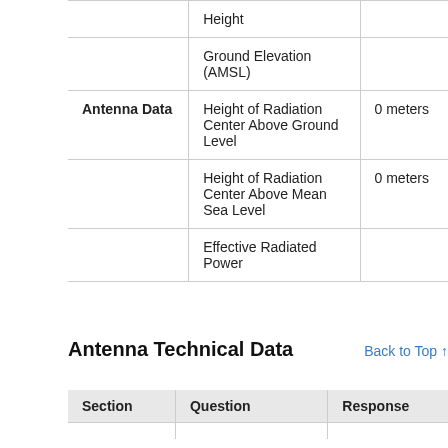| Section | Question | Response |
| --- | --- | --- |
|  | Height |  |
|  | Ground Elevation (AMSL) |  |
| Antenna Data | Height of Radiation Center Above Ground Level | 0 meters |
| Antenna Data | Height of Radiation Center Above Mean Sea Level | 0 meters |
| Antenna Data | Effective Radiated Power |  |
Antenna Technical Data
Back to Top ↑
| Section | Question | Response |
| --- | --- | --- |